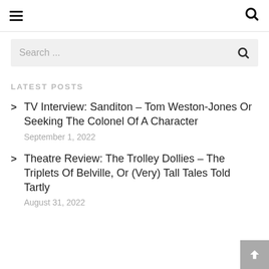≡  🔍
Search ...
LATEST POSTS
TV Interview: Sanditon – Tom Weston-Jones Or Seeking The Colonel Of A Character
September 1, 2022
Theatre Review: The Trolley Dollies – The Triplets Of Belville, Or (Very) Tall Tales Told Tartly
August 31, 2022